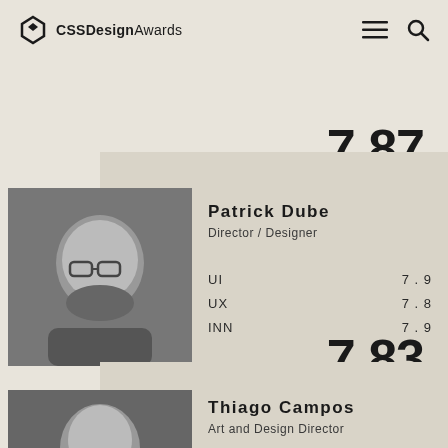CSS Design Awards
7.87
[Figure (photo): Black and white photo of Patrick Dube, a bearded man wearing glasses]
Patrick Dube
Director / Designer
UI  7.9
UX  7.8
INN  7.9
7.83
[Figure (photo): Black and white photo of Thiago Campos]
Thiago Campos
Art and Design Director